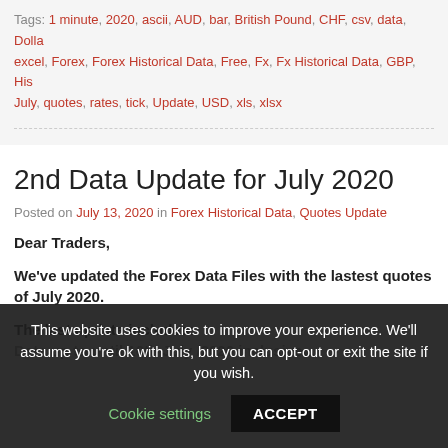Tags: 1 minute, 2020, ascii, AUD, bar, British Pound, CHF, csv, data, Dollar, excel, Forex, Forex Historical Data, Free, Fx, Fx Historical Data, GBP, His[torical], July, quotes, rates, tick, Update, USD, xls, xlsx
2nd Data Update for July 2020
Posted on July 13, 2020 in Forex Historical Data, Quotes Update
Dear Traders,
We've updated the Forex Data Files with the lastest quotes of July 2020.
The last update includes:
Data up to until 10th July 2020 inclusive...
This website uses cookies to improve your experience. We'll assume you're ok with this, but you can opt-out or exit the site if you wish. Cookie settings  ACCEPT